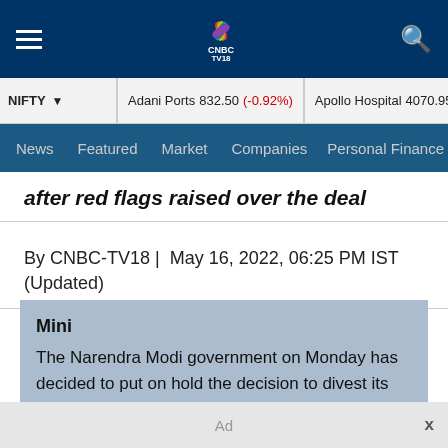[Figure (logo): CNBC TV18 logo with NBC peacock colorful icon on dark navy header bar]
NIFTY  |  Adani Ports 832.50 (-0.92%)  |  Apollo Hospital 4070.95 (1....
News  Featured  Market  Companies  Personal Finance
after red flags raised over the deal
By CNBC-TV18 |  May 16, 2022, 06:25 PM IST (Updated)
Mini
The Narendra Modi government on Monday has decided to put on hold the decision to divest its stake in loss-making helicopter service provider Star9 Mobility.
Ad